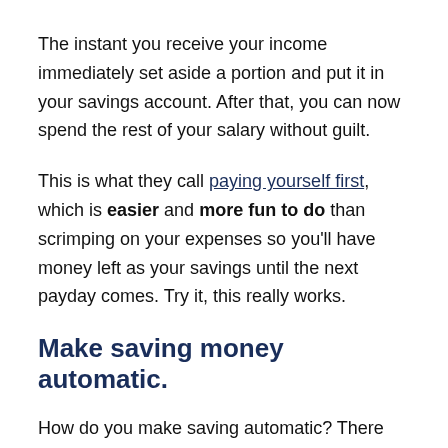The instant you receive your income immediately set aside a portion and put it in your savings account. After that, you can now spend the rest of your salary without guilt.
This is what they call paying yourself first, which is easier and more fun to do than scrimping on your expenses so you'll have money left as your savings until the next payday comes. Try it, this really works.
Make saving money automatic.
How do you make saving automatic? There are several ways. One is to go to the bank that handles your company payroll account and ask if they have an